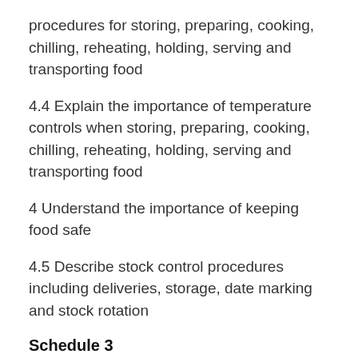procedures for storing, preparing, cooking, chilling, reheating, holding, serving and transporting food
4.4 Explain the importance of temperature controls when storing, preparing, cooking, chilling, reheating, holding, serving and transporting food
4 Understand the importance of keeping food safe
4.5 Describe stock control procedures including deliveries, storage, date marking and stock rotation
Schedule 3
(Annex 1, paragraph 4.3.3(2)(b))
OCCUPATIONAL DISEASE REPORT FORM